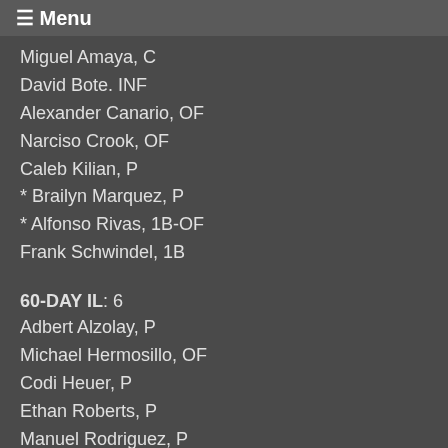☰ Menu
Miguel Amaya, C
David Bote. INF
Alexander Canario, OF
Narciso Crook, OF
Caleb Kilian, P
* Brailyn Marquez, P
* Alfonso Rivas, 1B-OF
Frank Schwindel, 1B
60-DAY IL: 6
Adbert Alzolay, P
Michael Hermosillo, OF
Codi Heuer, P
Ethan Roberts, P
Manuel Rodriguez, P
* Brad Wieck, P
RESTRICTED LIST: 1